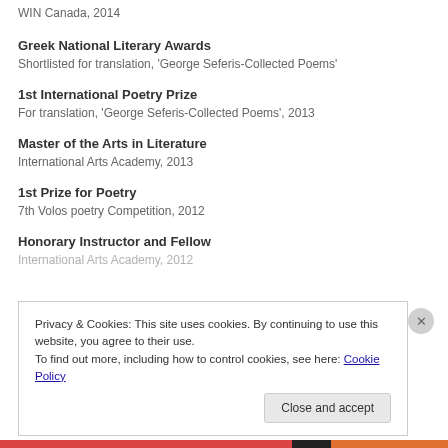WIN Canada, 2014
Greek National Literary Awards
Shortlisted for translation, 'George Seferis-Collected Poems'
1st International Poetry Prize
For translation, 'George Seferis-Collected Poems', 2013
Master of the Arts in Literature
International Arts Academy, 2013
1st Prize for Poetry
7th Volos poetry Competition, 2012
Honorary Instructor and Fellow
International Arts Academy, 2012
Privacy & Cookies: This site uses cookies. By continuing to use this website, you agree to their use.
To find out more, including how to control cookies, see here: Cookie Policy